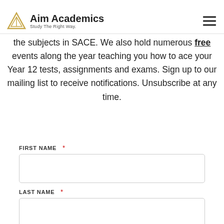Aim Academics — Study The Right Way.
the subjects in SACE. We also hold numerous free events along the year teaching you how to ace your Year 12 tests, assignments and exams. Sign up to our mailing list to receive notifications. Unsubscribe at any time.
FIRST NAME *
LAST NAME *
YOUR EMAIL *